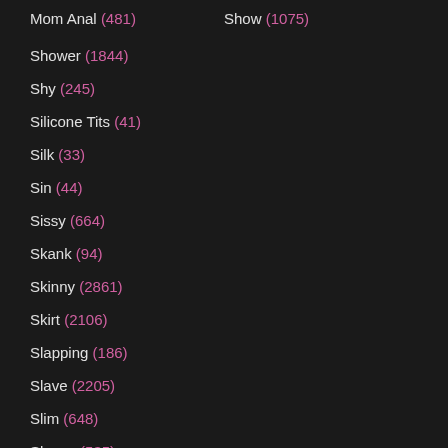Mom Anal (481)
Show (1075)
Shower (1844)
Shy (245)
Silicone Tits (41)
Silk (33)
Sin (44)
Sissy (664)
Skank (94)
Skinny (2861)
Skirt (2106)
Slapping (186)
Slave (2205)
Slim (648)
Sloppy (535)
Slowly (38)
Slut (5949)